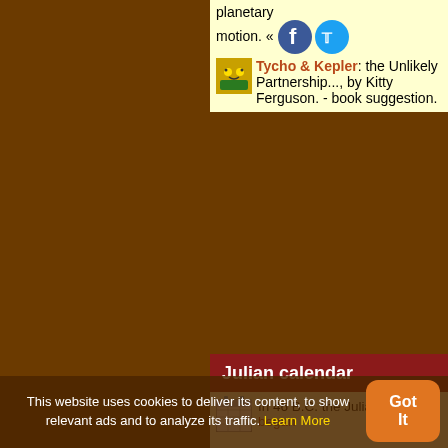planetary motion. Tycho & Kepler: the Unlikely Partnership..., by Kitty Ferguson. - book suggestion.
Julian calendar
In 46 B.C. the Julian calendar began its first day of its first year. It replaced the Roman years ab urbe condita ("from the founding of the city" referring to Rome). In the year 709 a.u.c. Julius Caesar established for
This website uses cookies to deliver its content, to show relevant ads and to analyze its traffic. Learn More Got It